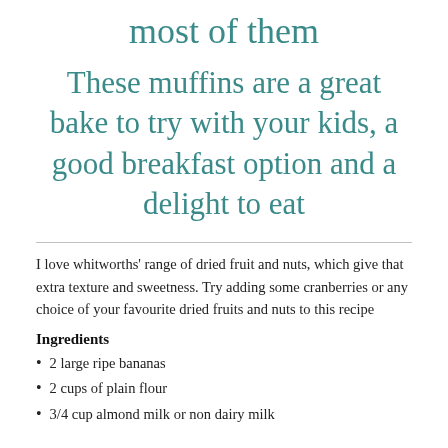most of them
These muffins are a great bake to try with your kids, a good breakfast option and a delight to eat
I love whitworths' range of dried fruit and nuts, which give that extra texture and sweetness. Try adding some cranberries or any choice of your favourite dried fruits and nuts to this recipe
Ingredients
2 large ripe bananas
2 cups of plain flour
3/4 cup almond milk or non dairy milk